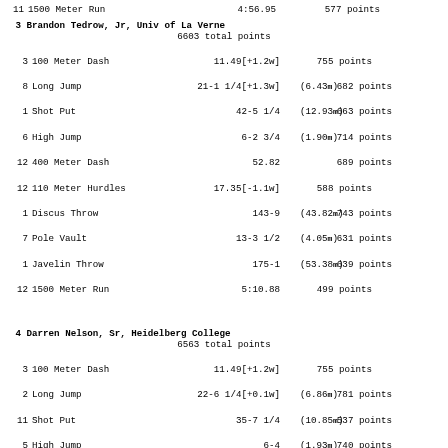11 1500 Meter Run   4:56.95   577 points
3 Brandon Tedrow, Jr, Univ of La Verne
6603 total points
3 100 Meter Dash  11.49[+1.2w]  755 points
8 Long Jump  21-1 1/4[+1.3w] (6.43m)  682 points
1 Shot Put  42-5 1/4 (12.93m) 663 points
6 High Jump  6-2 3/4 (1.90m)  714 points
12 400 Meter Dash  52.82  689 points
12 110 Meter Hurdles  17.35[-1.1w]  588 points
1 Discus Throw  143-9 (43.82m) 743 points
7 Pole Vault  13-3 1/2 (4.05m)  631 points
1 Javelin Throw  175-1 (53.38m) 639 points
12 1500 Meter Run  5:10.88  499 points
4 Darren Nelson, Sr, Heidelberg College
6563 total points
3 100 Meter Dash  11.49[+1.2w]  755 points
2 Long Jump  22-6 1/4[+0.1w] (6.86m)  781 points
11 Shot Put  35-7 1/4 (10.85m) 537 points
5 High Jump  6-4 (1.93m)  740 points
9 400 Meter Dash  51.71  737 points
10 110 Meter Hurdles  16.81[-1.4w]  644 points
8 Discus Throw  110-1 (33.55m) 535 points
5 Pole Vault  13-7 1/4 (4.15m)  659 points
7 Javelin Throw  155-2 (47.30m) 549 points
7 1500 Meter Run  4:48.83  626 points
5 Chad Williams, So, College of New Jersey
6475 total points
13 100 Meter Dash  11.74[+1.2w]  703 points
5 Long Jump  21-8[+2.8w] (6.60m)  720 points
4 Shot Put  40-2 3/4 (12.26m) 622 points
11 High Jump  5-10 (1.78m)  610 points
8 400 Meter Dash  51.61  742 points
7 110 Meter Hurdles  16.47[-0.1w]  681 points
5 Discus Throw  118-9 (36.20m) 588 points
8 Pole Vault  12-7 1/2 (3.85m)  576 points
8 Javelin Throw  154-0 (46.93m) 543 points
2 1500 Meter Run  4:38.43  690 points